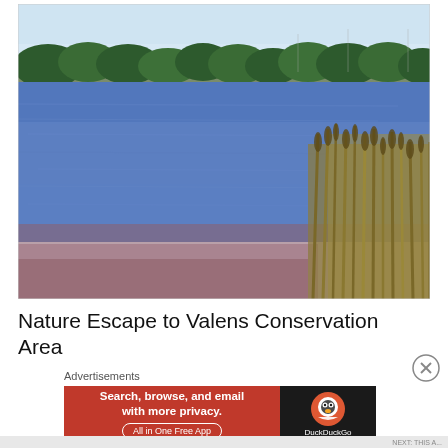[Figure (photo): Photograph of a lake with blue water in the foreground, reeds and tall grasses on the right shore, and a line of dark green trees across the far bank under a pale blue sky.]
Nature Escape to Valens Conservation Area
Advertisements
[Figure (screenshot): DuckDuckGo advertisement banner. Left side has red background with white bold text: 'Search, browse, and email with more privacy. All in One Free App'. Right side has dark background with DuckDuckGo duck logo and text 'DuckDuckGo'.]